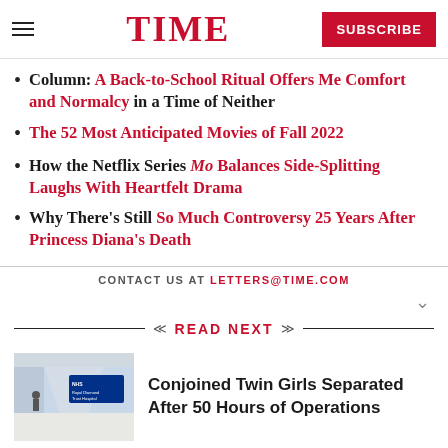TIME
Column: A Back-to-School Ritual Offers Me Comfort and Normalcy in a Time of Neither
The 52 Most Anticipated Movies of Fall 2022
How the Netflix Series Mo Balances Side-Splitting Laughs With Heartfelt Drama
Why There's Still So Much Controversy 25 Years After Princess Diana's Death
CONTACT US AT LETTERS@TIME.COM
READ NEXT
[Figure (photo): Thumbnail photo of a hospital corridor with NHS signage]
Conjoined Twin Girls Separated After 50 Hours of Operations